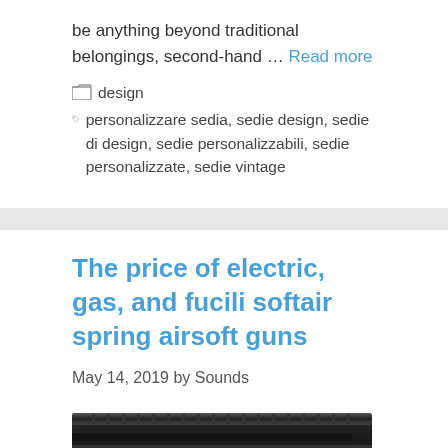be anything beyond traditional belongings, second-hand … Read more
design
personalizzare sedia, sedie design, sedie di design, sedie personalizzabili, sedie personalizzate, sedie vintage
The price of electric, gas, and fucili softair spring airsoft guns
May 14, 2019 by Sounds
[Figure (photo): Close-up photo of a dark/black airsoft gun barrel and receiver]